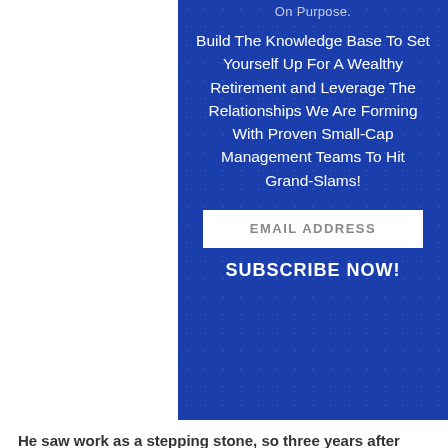On Purpose.
Build The Knowledge Base To Set Yourself Up For A Wealthy Retirement and Leverage The Relationships We Are Forming With Proven Small-Cap Management Teams To Hit Grand-Slams!
EMAIL ADDRESS
SUBSCRIBE NOW!
He saw work as a stepping stone, so three years after coming to